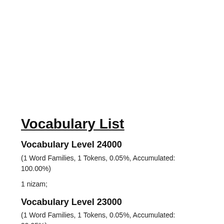Vocabulary List
Vocabulary Level 24000
(1 Word Families, 1 Tokens, 0.05%, Accumulated: 100.00%)
1 nizam;
Vocabulary Level 23000
(1 Word Families, 1 Tokens, 0.05%, Accumulated: 99.95%)